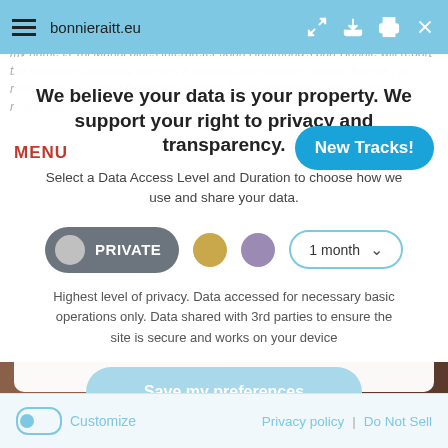bonnieraitt.eu
MENU
[Figure (screenshot): New Tracks! button in blue rounded rectangle]
We believe your data is your property. We support your right to privacy and transparency.
Select a Data Access Level and Duration to choose how we use and share your data.
PRIVATE | 1 month
Highest level of privacy. Data accessed for necessary basic operations only. Data shared with 3rd parties to ensure the site is secure and works on your device
Save my preferences
Customize | Privacy policy | Do Not Sell